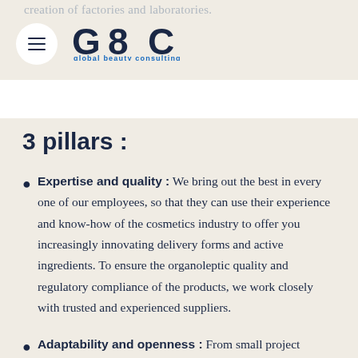creation of factories and laboratories.
[Figure (logo): GBC Global Beauty Consulting logo with hamburger menu icon in a white circle on the left, and GBC stylized text with 'global beauty consulting' subtitle on the right]
3 pillars :
Expertise and quality : We bring out the best in every one of our employees, so that they can use their experience and know-how of the cosmetics industry to offer you increasingly innovating delivery forms and active ingredients. To ensure the organoleptic quality and regulatory compliance of the products, we work closely with trusted and experienced suppliers.
Adaptability and openness : From small project owners to international brands, and from a single product to an entire range, we provide a unique